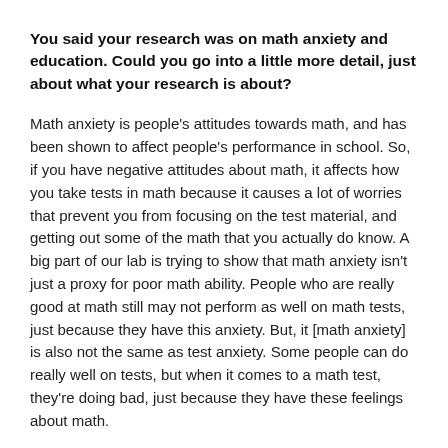You said your research was on math anxiety and education. Could you go into a little more detail, just about what your research is about?
Math anxiety is people's attitudes towards math, and has been shown to affect people's performance in school. So, if you have negative attitudes about math, it affects how you take tests in math because it causes a lot of worries that prevent you from focusing on the test material, and getting out some of the math that you actually do know. A big part of our lab is trying to show that math anxiety isn't just a proxy for poor math ability. People who are really good at math still may not perform as well on math tests, just because they have this anxiety. But, it [math anxiety] is also not the same as test anxiety. Some people can do really well on tests, but when it comes to a math test, they're doing bad, just because they have these feelings about math.